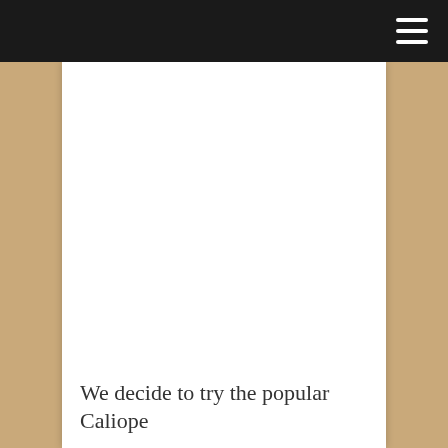We decide to try the popular Caliope